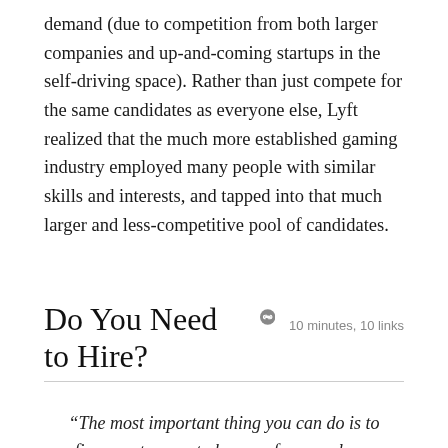demand (due to competition from both larger companies and up-and-coming startups in the self-driving space). Rather than just compete for the same candidates as everyone else, Lyft realized that the much more established gaming industry employed many people with similar skills and interests, and tapped into that much larger and less-competitive pool of candidates.
Do You Need to Hire? 10 minutes, 10 links
“The most important thing you can do is to figure out a way to have as few people on your team as possible. The fewer the people, the less you need